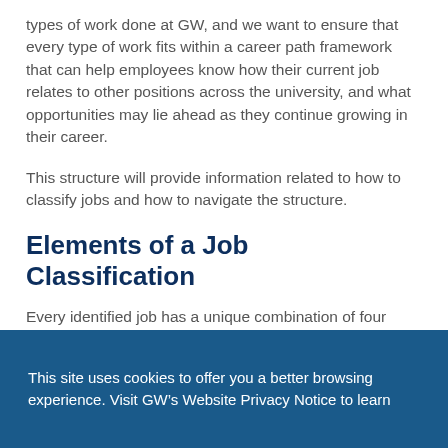types of work done at GW, and we want to ensure that every type of work fits within a career path framework that can help employees know how their current job relates to other positions across the university, and what opportunities may lie ahead as they continue growing in their career.
This structure will provide information related to how to classify jobs and how to navigate the structure.
Elements of a Job Classification
Every identified job has a unique combination of four attributes that make up an employee's job classification:
This site uses cookies to offer you a better browsing experience. Visit GW's Website Privacy Notice to learn